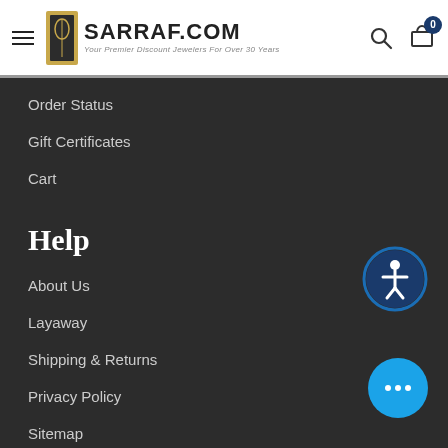SARRAF.COM — Your Premier Discount Jewelers For Over 30 Years
Order Status
Gift Certificates
Cart
Help
About Us
Layaway
Shipping & Returns
Privacy Policy
Sitemap
Connect With Us
Have Questions? Need Answers?
888 4-SARRAF (1-888-472-7723)